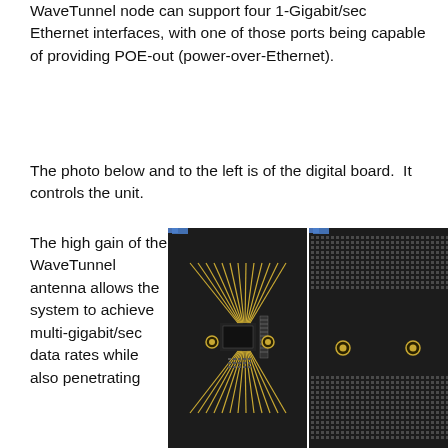WaveTunnel node can support four 1-Gigabit/sec Ethernet interfaces, with one of those ports being capable of providing POE-out (power-over-Ethernet).
The photo below and to the left is of the digital board.  It controls the unit.
The high gain of the WaveTunnel antenna allows the system to achieve multi-gigabit/sec data rates while also penetrating
[Figure (photo): Close-up photo of a digital circuit board (WaveTunnel) with antenna traces fanning out from a central chip, connector, and mounting holes, on a dark background.]
[Figure (photo): Close-up photo of the right portion of the WaveTunnel board showing a grid of solder pads/dots and two gold-colored mounting holes on a dark background.]